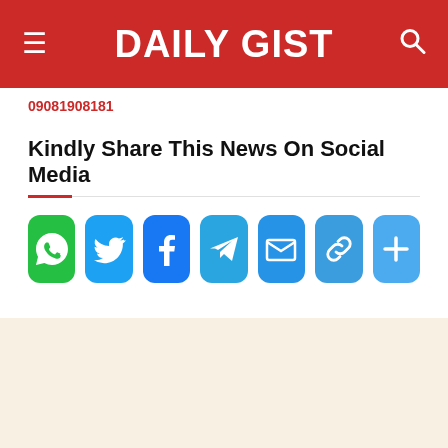DAILY GIST
09081908181
Kindly Share This News On Social Media
[Figure (infographic): Row of social media share buttons: WhatsApp (green), Twitter (blue), Facebook (blue), Telegram (cyan-blue), Email (blue), Link (blue), More/Plus (blue)]
~~Advertisement ~~